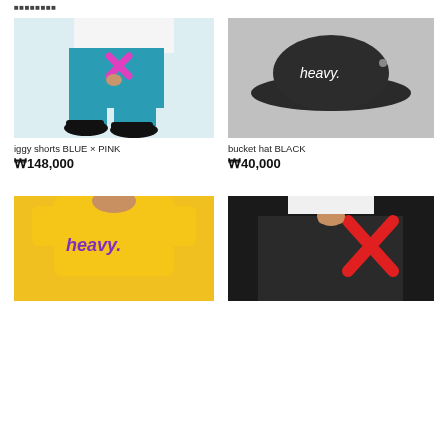■■■■■■■■■
[Figure (photo): Person wearing teal/blue iggy shorts with pink X mark, black Converse sneakers, white top]
iggy shorts BLUE × PINK
₩148,000
[Figure (photo): Black bucket hat with 'heavy.' embroidered in white text on dark background]
bucket hat BLACK
₩40,000
[Figure (photo): Person wearing yellow t-shirt with purple 'heavy.' logo text]
[Figure (photo): Person holding black skirt/clothing with red X mark design]